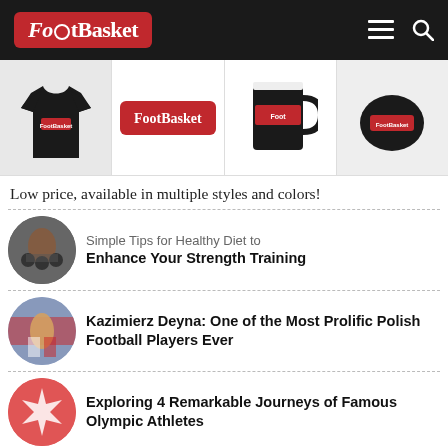FootBasket
[Figure (photo): FootBasket merchandise strip showing a long-sleeve black shirt, logo sticker, black mug, and black face mask with FootBasket branding]
Low price, available in multiple styles and colors!
[Figure (photo): Circular thumbnail of a person lifting weights in a gym]
Simple Tips for Healthy Diet to Enhance Your Strength Training
[Figure (photo): Circular thumbnail of Kazimierz Deyna playing football in a red and white kit]
Kazimierz Deyna: One of the Most Prolific Polish Football Players Ever
[Figure (photo): Circular thumbnail with red background showing an Olympic-related symbol]
Exploring 4 Remarkable Journeys of Famous Olympic Athletes